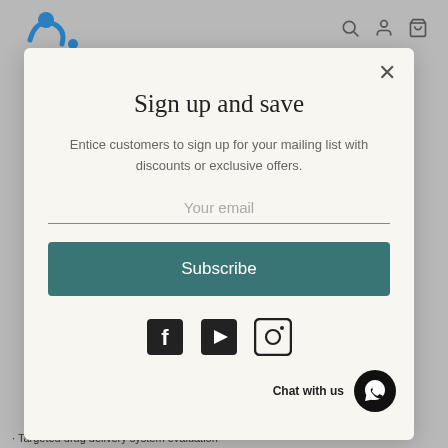[Figure (screenshot): Website background showing pharmacy logo (colorful dots/person figure in blue, teal, orange, green) at top left, with navigation icons (search, profile, cart) at top right, and a blurred gray background.]
Sign up and save
Entice customers to sign up for your mailing list with discounts or exclusive offers.
Your email
Subscribe
[Figure (other): Social media icons row: Facebook, YouTube, Instagram]
Chat with us
· Targeted drug delivery system evaluation